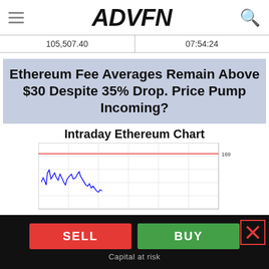ADVFN
| 105,507.40 | 07:54:24 |
Ethereum Fee Averages Remain Above $30 Despite 35% Drop. Price Pump Incoming?
Intraday Ethereum Chart
[Figure (line-chart): Intraday line chart of Ethereum price, showing a blue price line with a red horizontal reference line near the top around 1690. The price action shows a volatile pattern in the left portion of the chart.]
SELL   BUY
Capital at risk